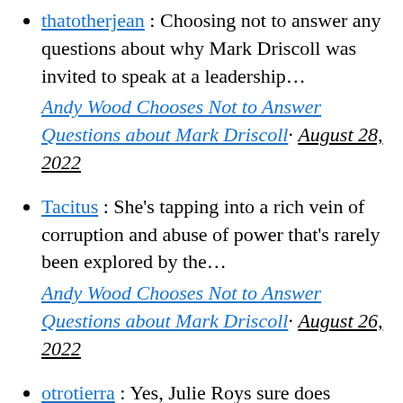thatotherjean : Choosing not to answer any questions about why Mark Driscoll was invited to speak at a leadership... Andy Wood Chooses Not to Answer Questions about Mark Driscoll · August 28, 2022
Tacitus : She's tapping into a rich vein of corruption and abuse of power that's rarely been explored by the... Andy Wood Chooses Not to Answer Questions about Mark Driscoll · August 26, 2022
otrotierra : Yes, Julie Roys sure does produce an impressive body of investigative...